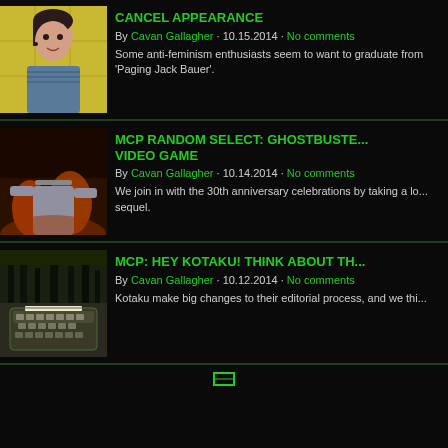[Figure (photo): Portrait photo of a woman with dark hair against yellow background]
CANCEL APPEARANCE
By Cavan Gallagher · 10.15.2014 · No comments
Some anti-feminism enthusiasts seem to want to graduate from 'Paging Jack Bauer'.
[Figure (photo): Ghostbusters video game screenshot with robot character in fiery scene]
MCP RANDOM SELECT: GHOSTBUSTERS VIDEO GAME
By Cavan Gallagher · 10.14.2014 · No comments
We join in with the 30th anniversary celebrations by taking a look at the sequel.
[Figure (photo): Dark forest scene above, and a vintage typewriter below]
MCP: HEY KOTAKU! THINK ABOUT TH...
By Cavan Gallagher · 10.12.2014 · No comments
Kotaku make big changes to their editorial process, and we thi...